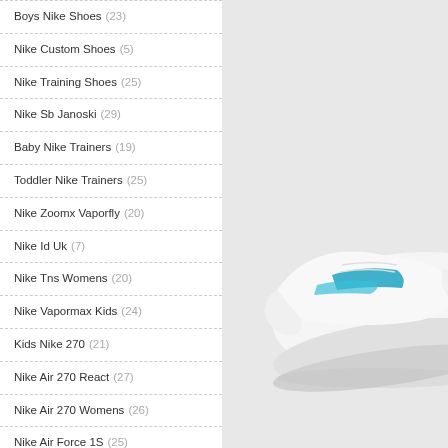Boys Nike Shoes (23)
Nike Custom Shoes (5)
Nike Training Shoes (25)
Nike Sb Janoski (29)
Baby Nike Trainers (19)
Toddler Nike Trainers (25)
Nike Zoomx Vaporfly (20)
Nike Id Uk (7)
Nike Tns Womens (20)
Nike Vapormax Kids (24)
Kids Nike 270 (21)
Nike Air 270 React (27)
Nike Air 270 Womens (26)
Nike Air Force 1S (25)
Nike Air Force Shadow (25)
Nike Air Zoom Structure 22 (24)
[Figure (photo): Partial view of a white Nike sneaker with blue accent stripe, shown on light gray background, cropped to show heel and midsole area]